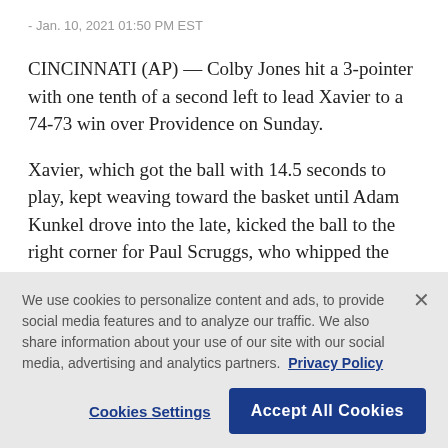- Jan. 10, 2021 01:50 PM EST
CINCINNATI (AP) — Colby Jones hit a 3-pointer with one tenth of a second left to lead Xavier to a 74-73 win over Providence on Sunday.
Xavier, which got the ball with 14.5 seconds to play, kept weaving toward the basket until Adam Kunkel drove into the late, kicked the ball to the right corner for Paul Scruggs, who whipped the ball up top to Jones. Jones hit nothing but net over the outstretched
We use cookies to personalize content and ads, to provide social media features and to analyze our traffic. We also share information about your use of our site with our social media, advertising and analytics partners.  Privacy Policy
Cookies Settings  Accept All Cookies